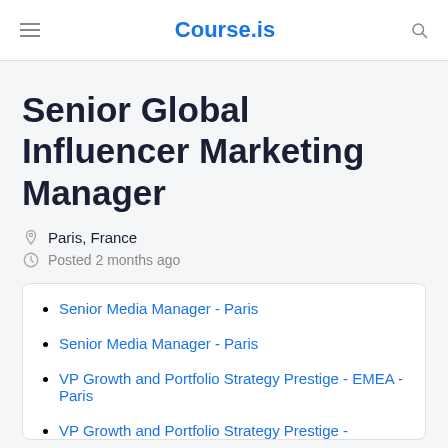Course.is
Senior Global Influencer Marketing Manager
Paris, France
Posted 2 months ago
Senior Media Manager - Paris
Senior Media Manager - Paris
VP Growth and Portfolio Strategy Prestige - EMEA - Paris
VP Growth and Portfolio Strategy Prestige -